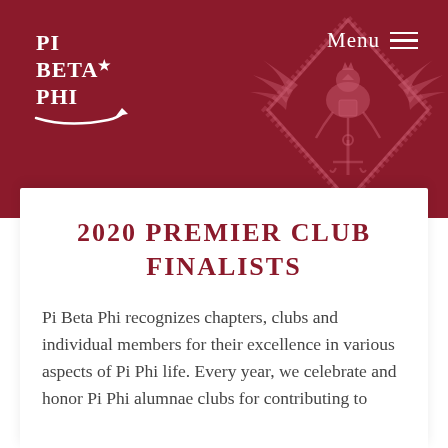[Figure (logo): Pi Beta Phi logo with arrow and crest watermark on dark red background with Menu button]
2020 PREMIER CLUB FINALISTS
Pi Beta Phi recognizes chapters, clubs and individual members for their excellence in various aspects of Pi Phi life. Every year, we celebrate and honor Pi Phi alumnae clubs for contributing to